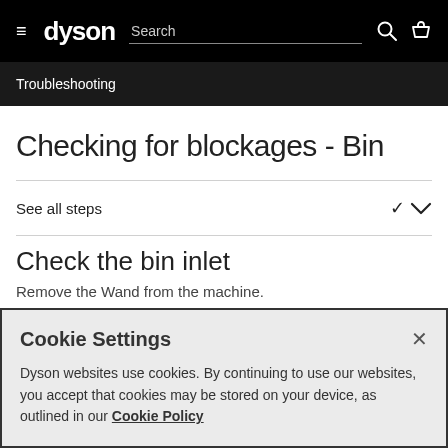dyson | Search | [hamburger menu] [search icon] [basket icon]
Troubleshooting
Checking for blockages - Bin
See all steps
Check the bin inlet
Remove the Wand from the machine.
Cookie Settings

Dyson websites use cookies. By continuing to use our websites, you accept that cookies may be stored on your device, as outlined in our Cookie Policy